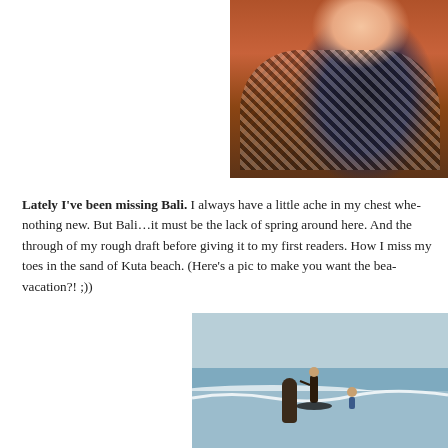[Figure (photo): Close-up portrait of a smiling woman wearing a dark top and black-and-white patterned scarf, in front of a brick wall background. Photo is cropped to show face and upper torso.]
Lately I’ve been missing Bali.  I always have a little ache in my chest whe- nothing new. But Bali…it must be the lack of spring around here. And the through of my rough draft before giving it to my first readers. How I miss my toes in the sand of Kuta beach. (Here’s a pic to make you want the bea- vacation?! ;))
[Figure (photo): Beach scene at Kuta beach, Bali, showing surfers on waves. One person stands on a surfboard riding a wave, with another person visible in the background. The ocean and cloudy sky are visible.]